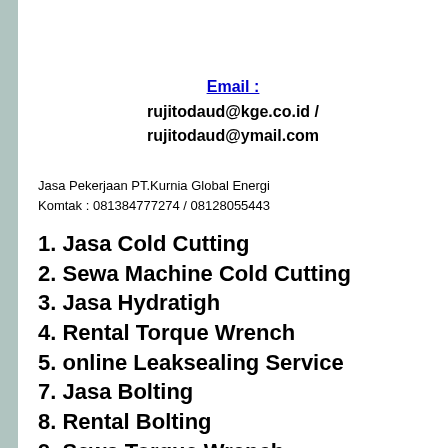Email : rujitodaud@kge.co.id / rujitodaud@ymail.com
Jasa Pekerjaan PT.Kurnia Global Energi
Komtak : 081384777274 / 08128055443
1. Jasa Cold Cutting
2. Sewa Machine Cold Cutting
3. Jasa Hydratigh
4. Rental Torque Wrench
5. online Leaksealing Service
7. Jasa Bolting
8. Rental Bolting
9. Sewa Torque Wrench